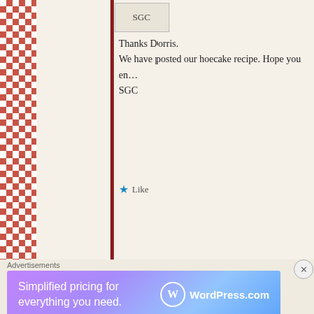[Figure (logo): SGC logo avatar box with decorative border]
Thanks Dorris.
We have posted our hoecake recipe. Hope you en…
SGC
Like
mammabear1962  October 22, 2012 at 3:09 pm  |  Log in to Reply
[Figure (illustration): Yellow decorative tile avatar for mammabear1962]
Good day Southern Gals,
I hope you are cooking up a storm and having a great tim…
Advertisements
[Figure (screenshot): WordPress.com advertisement banner: Simplified pricing for everything you need.]